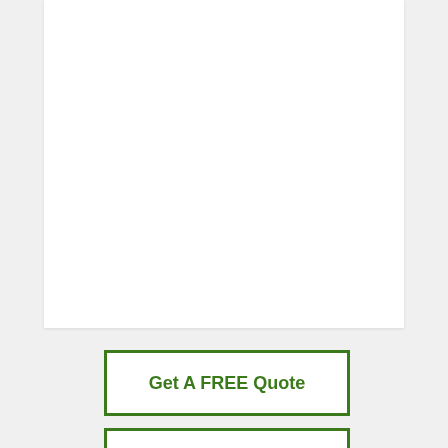[Figure (other): White rectangular panel/content area on a light gray background, upper portion of the page]
Get A FREE Quote
[Figure (other): Partial green-bordered button visible at the bottom edge of the page]